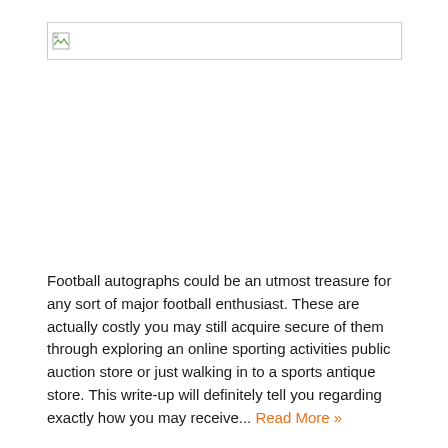[Figure (other): Broken image placeholder — a small image icon with border indicating a missing/unloaded image]
Football autographs could be an utmost treasure for any sort of major football enthusiast. These are actually costly you may still acquire secure of them through exploring an online sporting activities public auction store or just walking in to a sports antique store. This write-up will definitely tell you regarding exactly how you may receive... Read More »